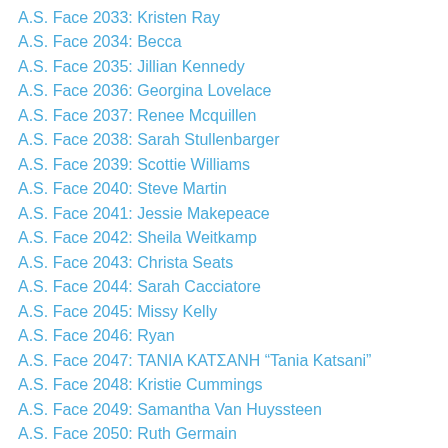A.S. Face 2033: Kristen Ray
A.S. Face 2034: Becca
A.S. Face 2035: Jillian Kennedy
A.S. Face 2036: Georgina Lovelace
A.S. Face 2037: Renee Mcquillen
A.S. Face 2038: Sarah Stullenbarger
A.S. Face 2039: Scottie Williams
A.S. Face 2040: Steve Martin
A.S. Face 2041: Jessie Makepeace
A.S. Face 2042: Sheila Weitkamp
A.S. Face 2043: Christa Seats
A.S. Face 2044: Sarah Cacciatore
A.S. Face 2045: Missy Kelly
A.S. Face 2046: Ryan
A.S. Face 2047: ΤΑΝΙΑ ΚΑΤΣΑΝΗ “Tania Katsani”
A.S. Face 2048: Kristie Cummings
A.S. Face 2049: Samantha Van Huyssteen
A.S. Face 2050: Ruth Germain
A.S. Face 2051:  Marishia Yvette Gilbert
A.S. Face 2052: Stacie Eilers